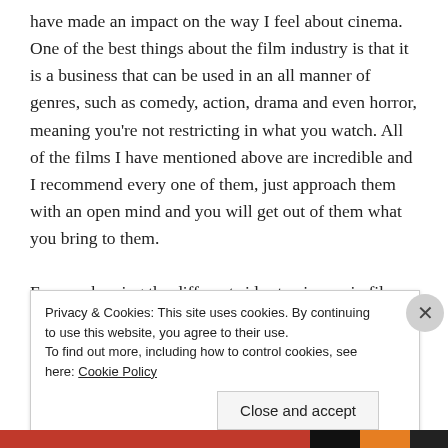have made an impact on the way I feel about cinema. One of the best things about the film industry is that it is a business that can be used in an all manner of genres, such as comedy, action, drama and even horror, meaning you're not restricting in what you watch. All of the films I have mentioned above are incredible and I recommend every one of them, just approach them with an open mind and you will get out of them what you bring to them.

For me showing the different sides to cinema in films is very important because it provides the audience with
Privacy & Cookies: This site uses cookies. By continuing to use this website, you agree to their use.
To find out more, including how to control cookies, see here: Cookie Policy

[Close and accept]